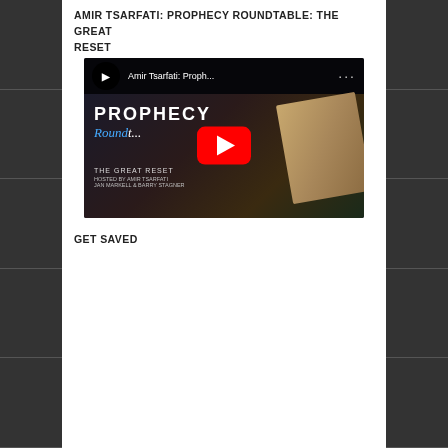AMIR TSARFATI: PROPHECY ROUNDTABLE: THE GREAT RESET
[Figure (screenshot): YouTube video thumbnail for Amir Tsarfati Prophecy Roundtable: The Great Reset, showing the YouTube play button overlay, video title bar with channel logo, and background with 'PROPHECY Round...' text and open Bible image]
GET SAVED
[Figure (photo): Image showing two hands reaching toward each other (reminiscent of Michelangelo's Creation of Adam) with text overlay 'Get Saved.....' at top and '...Accept Jesus Now!' at bottom in teal/blue font]